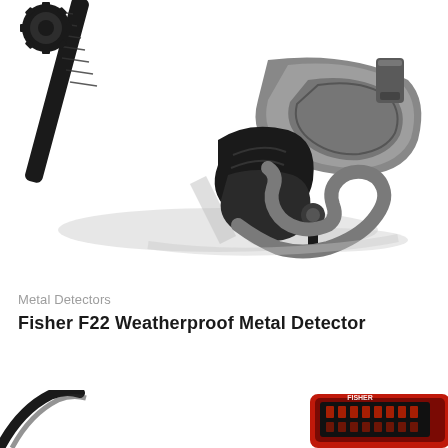[Figure (photo): Close-up photo of the upper part of a Fisher F22 metal detector showing the shaft, arm cuff (gray/black), handle, and search coil connector against a white background with shadow]
Metal Detectors
Fisher F22 Weatherproof Metal Detector
[Figure (photo): Partial photo of another Fisher metal detector (possibly F22 or similar) showing the search coil on the left and a red/black control box with display in the center, cropped at bottom of page]